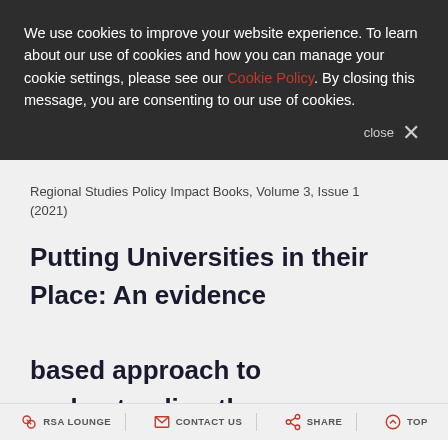We use cookies to improve your website experience. To learn about our use of cookies and how you can manage your cookie settings, please see our Cookie Policy. By closing this message, you are consenting to our use of cookies.
close ×
Regional Studies Policy Impact Books, Volume 3, Issue 1 (2021)
Putting Universities in their Place: An evidence based approach to understanding the contribution of higher education to local and regional development
RSA LOUNGE   CONTACT US   SHARE   TOP